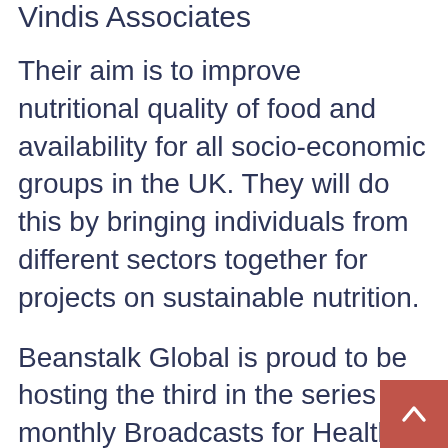Vindis Associates
Their aim is to improve nutritional quality of food and availability for all socio-economic groups in the UK. They will do this by bringing individuals from different sectors together for projects on sustainable nutrition.
Beanstalk Global is proud to be hosting the third in the series of monthly Broadcasts for Healthy and Sustainable Food. For our November Broadcast we collectively